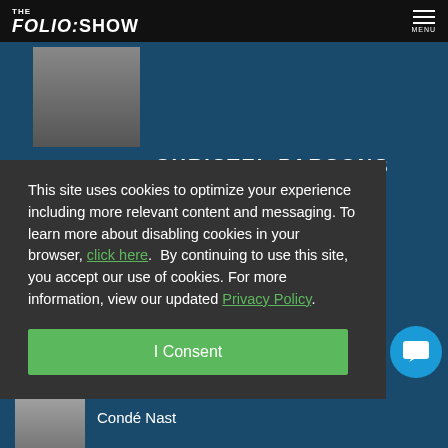THE FOLIO:SHOW — MENU
[Figure (photo): Partial photo of a dark-haired woman cropped at top of page]
CHRISTEL PARSONS (partially visible)
This site uses cookies to optimize your experience including more relevant content and messaging. To learn more about disabling cookies in your browser, click here. By continuing to use this site, you accept our use of cookies. For more information, view our updated Privacy Policy.
I Consent
[Figure (photo): Partial photo of a person at bottom of page]
Condé Nast